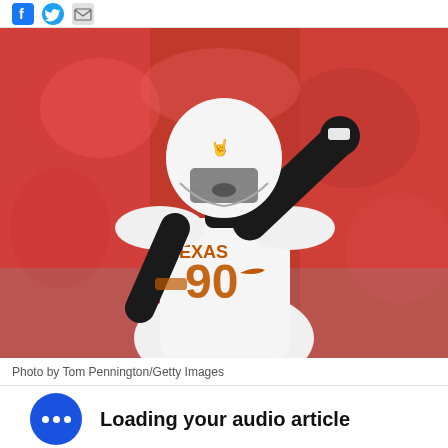social share icons (Facebook, Twitter, Email)
[Figure (photo): Texas Longhorns football player #90 in white jersey celebrating with arm raised, wearing white helmet with longhorn logo, blurred red crowd background. Photo by Tom Pennington/Getty Images.]
Photo by Tom Pennington/Getty Images
Loading your audio article